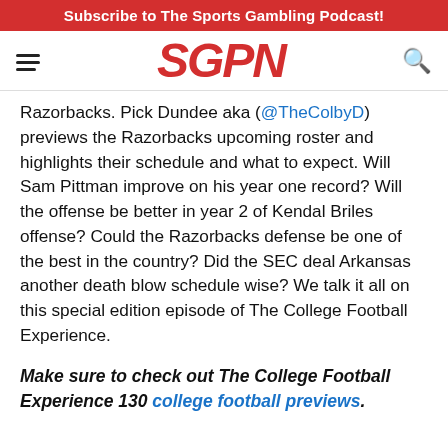Subscribe to The Sports Gambling Podcast!
[Figure (logo): SGPN logo in red italic bold text with hamburger menu icon on left and search icon on right]
Razorbacks. Pick Dundee aka (@TheColbyD) previews the Razorbacks upcoming roster and highlights their schedule and what to expect. Will Sam Pittman improve on his year one record? Will the offense be better in year 2 of Kendal Briles offense? Could the Razorbacks defense be one of the best in the country? Did the SEC deal Arkansas another death blow schedule wise? We talk it all on this special edition episode of The College Football Experience.
Make sure to check out The College Football Experience 130 college football previews.